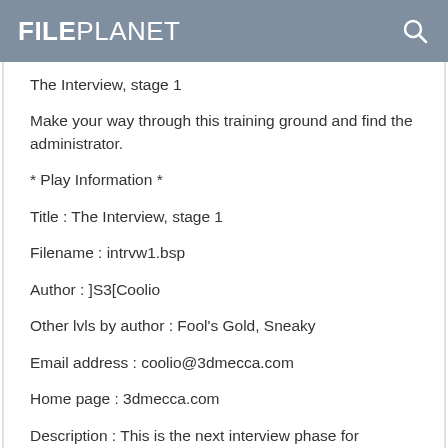FILEPLANET
The Interview, stage 1
Make your way through this training ground and find the administrator.
* Play Information *
Title : The Interview, stage 1
Filename : intrvw1.bsp
Author : ]S3[Coolio
Other lvls by author : Fool's Gold, Sneaky
Email address : coolio@3dmecca.com
Home page : 3dmecca.com
Description : This is the next interview phase for Gordon, after taking
the job with the smoking man (even though he never smokes).